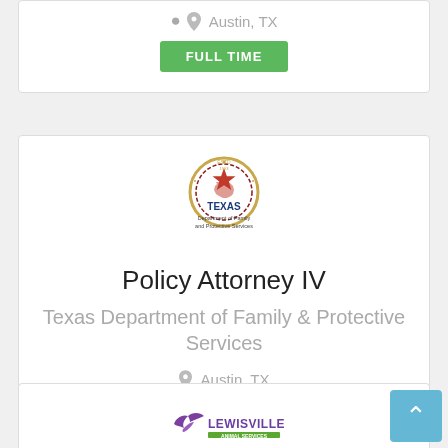Austin, TX
FULL TIME
[Figure (logo): Texas Department of Family and Protective Services seal logo]
Policy Attorney IV
Texas Department of Family & Protective Services
Austin, TX
FULL TIME
[Figure (logo): Lewisville logo with purple bird/swallow and green text]